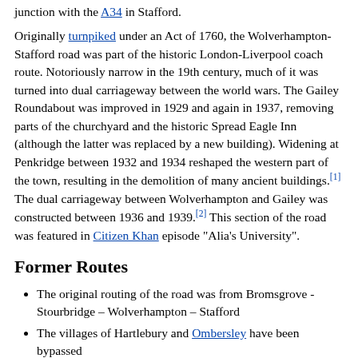junction with the A34 in Stafford.
Originally turnpiked under an Act of 1760, the Wolverhampton-Stafford road was part of the historic London-Liverpool coach route. Notoriously narrow in the 19th century, much of it was turned into dual carriageway between the world wars. The Gailey Roundabout was improved in 1929 and again in 1937, removing parts of the churchyard and the historic Spread Eagle Inn (although the latter was replaced by a new building). Widening at Penkridge between 1932 and 1934 reshaped the western part of the town, resulting in the demolition of many ancient buildings.[1] The dual carriageway between Wolverhampton and Gailey was constructed between 1936 and 1939.[2] This section of the road was featured in Citizen Khan episode "Alia's University".
Former Routes
The original routing of the road was from Bromsgrove - Stourbridge – Wolverhampton – Stafford
The villages of Hartlebury and Ombersley have been bypassed
Part of Ledbury is now bypassed
Between Raglan and Newport the A449 used to run through the towns of Usk and Caerleon, along a now mostly